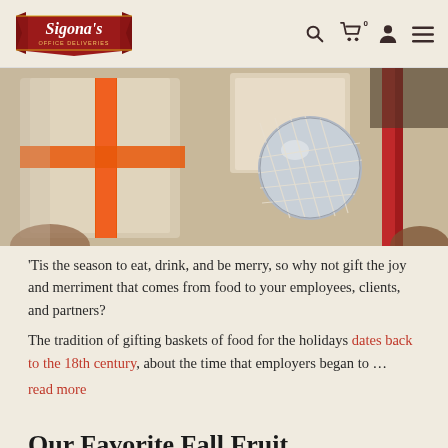Sigona's Office Deliveries — navigation header with search, cart, account, and menu icons
[Figure (photo): Close-up photo of holiday gift baskets with orange ribbon and silver ornament in mesh netting, with red ribbon visible at right.]
'Tis the season to eat, drink, and be merry, so why not gift the joy and merriment that comes from food to your employees, clients, and partners?
The tradition of gifting baskets of food for the holidays dates back to the 18th century, about the time that employers began to …
read more
Our Favorite Fall Fruit